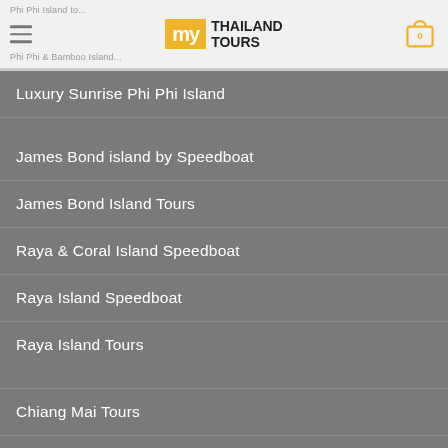my THAILAND TOURS
Luxury Sunrise Phi Phi Island
James Bond island by Speedboat
James Bond Island Tours
Raya & Coral Island Speedboat
Raya Island Speedboat
Raya Island Tours
Chiang Mai Tours
Doi Suthep Tours
Chiang Mai Temple Tours